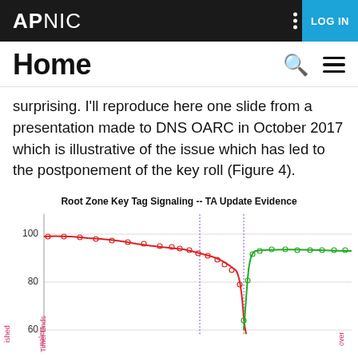APNIC  LOG IN
Home
surprising. I'll reproduce here one slide from a presentation made to DNS OARC in October 2017 which is illustrative of the issue which has led to the postponement of the key roll (Figure 4).
[Figure (line-chart): Line chart showing Root Zone Key Tag Signaling TA Update Evidence. Red line starts near 100 and declines, green line rises from low point after Timer Ends marker. Y-axis shows values from 60 to 100. Vertical purple lines mark events including 'ished' and 'Timer Ends'. Chart is partially cut off at the bottom.]